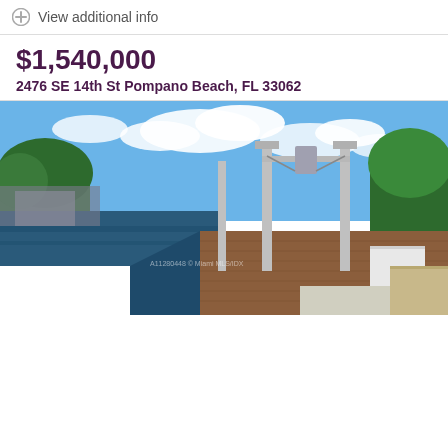View additional info
$1,540,000
2476 SE 14th St Pompano Beach, FL 33062
[Figure (photo): Waterfront dock with wooden decking, boat lift poles, calm water canal, tropical trees and blue sky with clouds in background]
Photos
Beds: 3
Baths: 2.00
Sq.Ft.: 1,921
Status: Active